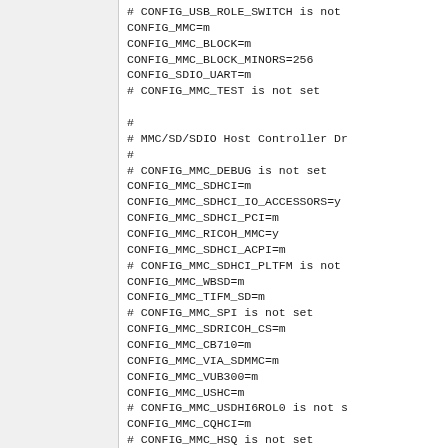# CONFIG_USB_ROLE_SWITCH is not
CONFIG_MMC=m
CONFIG_MMC_BLOCK=m
CONFIG_MMC_BLOCK_MINORS=256
CONFIG_SDIO_UART=m
# CONFIG_MMC_TEST is not set

#
# MMC/SD/SDIO Host Controller Dr
#
# CONFIG_MMC_DEBUG is not set
CONFIG_MMC_SDHCI=m
CONFIG_MMC_SDHCI_IO_ACCESSORS=y
CONFIG_MMC_SDHCI_PCI=m
CONFIG_MMC_RICOH_MMC=y
CONFIG_MMC_SDHCI_ACPI=m
# CONFIG_MMC_SDHCI_PLTFM is not
CONFIG_MMC_WBSD=m
CONFIG_MMC_TIFM_SD=m
# CONFIG_MMC_SPI is not set
CONFIG_MMC_SDRICOH_CS=m
CONFIG_MMC_CB710=m
CONFIG_MMC_VIA_SDMMC=m
CONFIG_MMC_VUB300=m
CONFIG_MMC_USHC=m
# CONFIG_MMC_USDHI6ROL0 is not s
CONFIG_MMC_CQHCI=m
# CONFIG_MMC_HSQ is not set
CONFIG_MMC_TOSHIBA_PCI=m
# CONFIG_MMC_MTK is not set
CONFIG_MEMSTICK=m
# CONFIG_MEMSTICK_DEBUG is not s